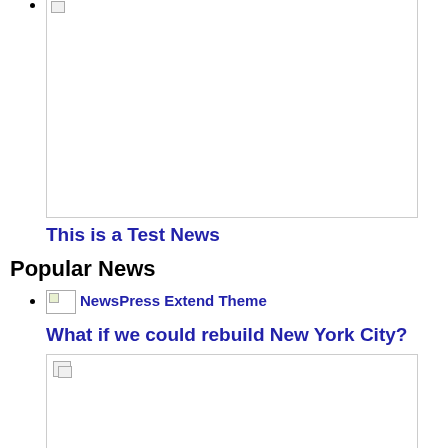[image placeholder]
This is a Test News
Popular News
NewsPress Extend Theme [image] What if we could rebuild New York City?
[Figure (photo): Broken image placeholder at bottom of page]